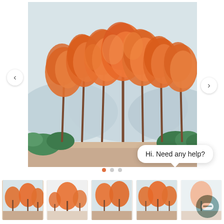[Figure (illustration): A painting of orange autumn trees with slender brown trunks against a soft blue-grey misty background with green foliage at the base and a sandy path in the foreground.]
Hi. Need any help?
[Figure (illustration): Row of thumbnail previews of the same autumn trees painting from different angles/crops.]